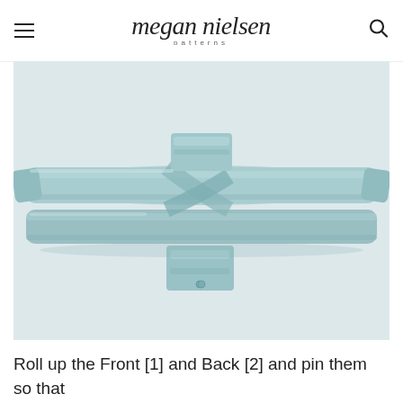megan nielsen patterns
[Figure (photo): Light teal/mint colored fabric piece laid flat on a white surface, showing a rolled/folded garment piece with ties extending horizontally on both sides and small rectangular tab pieces at top and bottom center.]
Roll up the Front [1] and Back [2] and pin them so that they are out of the way.